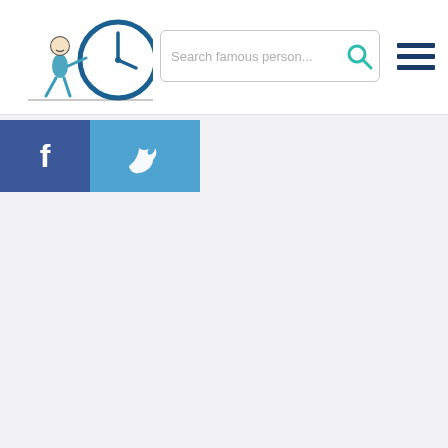[Figure (screenshot): Website header with a clock/character logo on the left, a search bar in the middle with placeholder text 'Search famous person...' and a teal search icon, and a dark blue hamburger menu icon on the right]
[Figure (illustration): Social media share buttons: Facebook button (dark blue with 'f' logo) and Twitter button (lighter blue with bird logo)]